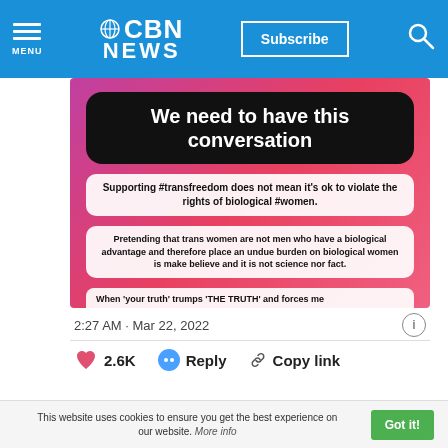CBN NEWS
[Figure (screenshot): Social media post screenshot on pink/magenta gradient background. Text boxes read: 'We need to have this conversation'; 'Supporting #transfreedom does not mean it’s ok to violate the rights of biological #women.'; 'Pretending that trans women are not men who have a biological advantage and therefore place an undue burden on biological women is make believe and it is not science nor fact.'; 'When ‘your truth’ trumps ‘THE TRUTH’ and forces me']
2:27 AM · Mar 22, 2022
2.6K  Reply  Copy link
This website uses cookies to ensure you get the best experience on our website. More info